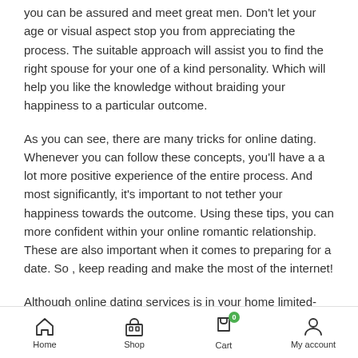you can be assured and meet great men. Don't let your age or visual aspect stop you from appreciating the process. The suitable approach will assist you to find the right spouse for your one of a kind personality. Which will help you like the knowledge without braiding your happiness to a particular outcome.
As you can see, there are many tricks for online dating. Whenever you can follow these concepts, you'll have a a lot more positive experience of the entire process. And most significantly, it's important to not tether your happiness towards the outcome. Using these tips, you can more confident within your online romantic relationship. These are also important when it comes to preparing for a date. So , keep reading and make the most of the internet!
Although online dating services is in your home limited-age-group-based encounter, it can be a good way to discover new experiences. Should you approach it as a narrative, you'll discover it's far not limited to single guys, but rather that you may meet numerous people
Home  Shop  Cart  My account